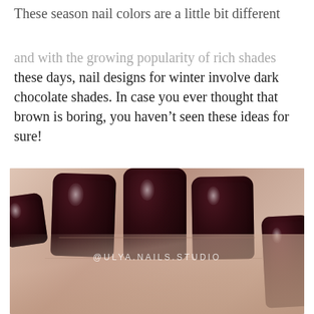These season nail colors are a little bit different
these days, nail designs for winter involve dark chocolate shades. In case you ever thought that brown is boring, you haven't seen these ideas for sure!
[Figure (photo): Close-up photo of a hand with dark chocolate/oxblood colored square nails, with watermark text '@ULYA.NAILS.STUDIO' overlaid in white letters]